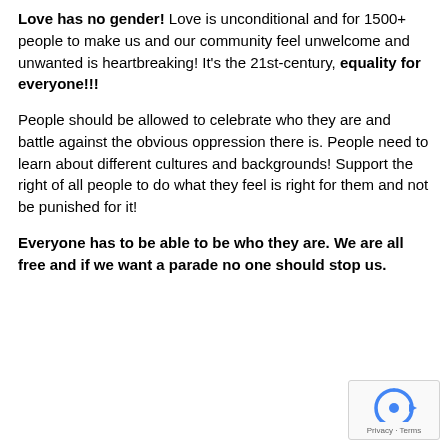Love has no gender! Love is unconditional and for 1500+ people to make us and our community feel unwelcome and unwanted is heartbreaking! It's the 21st-century, equality for everyone!!!
People should be allowed to celebrate who they are and battle against the obvious oppression there is. People need to learn about different cultures and backgrounds! Support the right of all people to do what they feel is right for them and not be punished for it!
Everyone has to be able to be who they are. We are all free and if we want a parade no one should stop us.
[Figure (logo): reCAPTCHA logo with Privacy and Terms links]